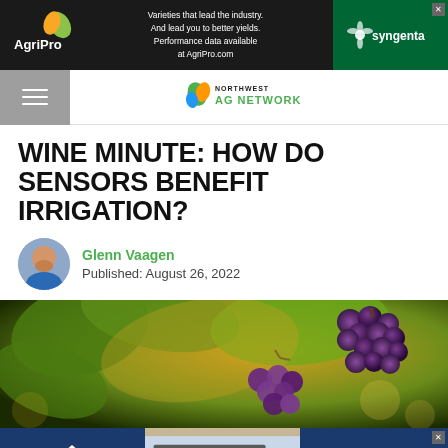[Figure (other): AgriPro / Syngenta advertisement banner at top with text: Varieties that lead the industry. And lead you to better yields. Performance data available at AgriPro.com]
[Figure (logo): Northwest AG Network navigation logo with hamburger menu icon on the left]
WINE MINUTE: HOW DO SENSORS BENEFIT IRRIGATION?
[Figure (photo): Profile photo of Glenn Vaagen, a man in a blue shirt]
Glenn Vaagen
Published: August 26, 2022
[Figure (photo): Close-up photo of purple grapes on a vine with green and golden leaves in the background]
[Figure (other): Trinity / EagleBed advertisement banner at bottom with truck image]